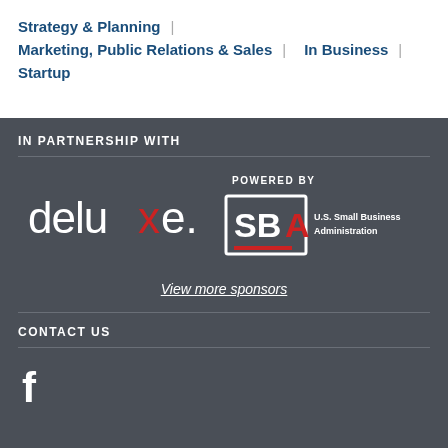Strategy & Planning
Marketing, Public Relations & Sales | In Business
Startup
IN PARTNERSHIP WITH
[Figure (logo): Deluxe logo in white text on dark background]
[Figure (logo): POWERED BY - U.S. Small Business Administration logo with SBA icon]
View more sponsors
CONTACT US
[Figure (logo): Facebook 'f' icon in white]